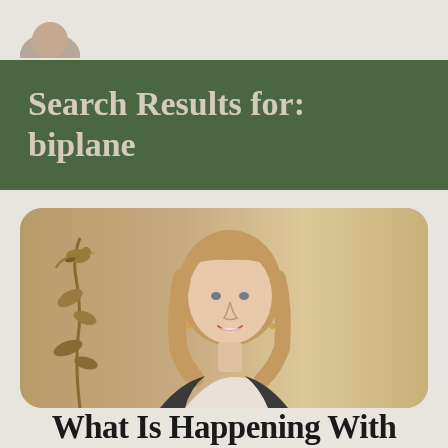[Figure (photo): Partial view of a person's profile photo at the top of the page, cropped circular avatar]
Search Results for: biplane
[Figure (photo): Photo of a middle-aged woman with shoulder-length blonde hair, smiling, wearing a dark blazer with a light scarf, set against a warm beige background with a decorative gold bird and plant motif on the left]
What Is Happening With